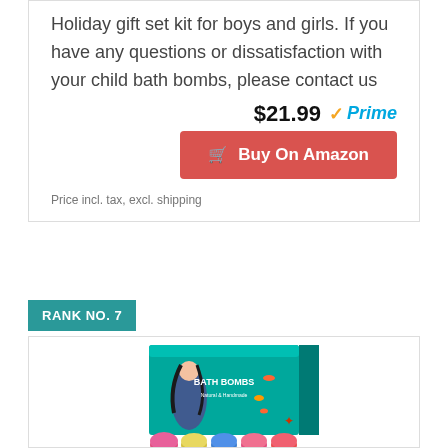Holiday gift set kit for boys and girls. If you have any questions or dissatisfaction with your child bath bombs, please contact us
$21.99 ✓Prime
🛒 Buy On Amazon
Price incl. tax, excl. shipping
RANK NO. 7
[Figure (photo): Bath bombs gift set product photo showing a teal box with mermaid design labeled 'BATH BOMBS' and colorful bath bomb spheres arranged in front]